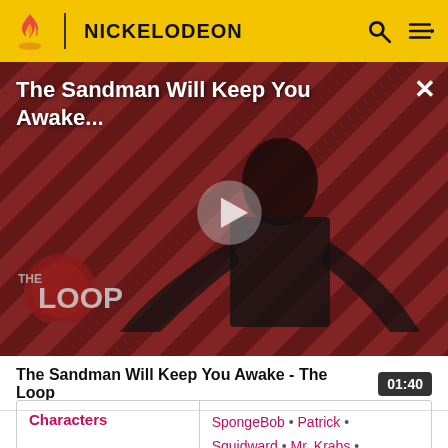NICKELODEON
[Figure (screenshot): Video thumbnail for 'The Sandman Will Keep You Awake - The Loop' showing a dark-clad figure against a red diagonal striped background with 'THE LOOP' logo overlay and play button]
The Sandman Will Keep You Awake - The Loop
| Characters |  |
| --- | --- |
| Characters | SpongeBob • Patrick • Squidward • Mr. Krabs • Plankton • Karen • Sandy • Mrs. Puff • Pearl • Gary • |